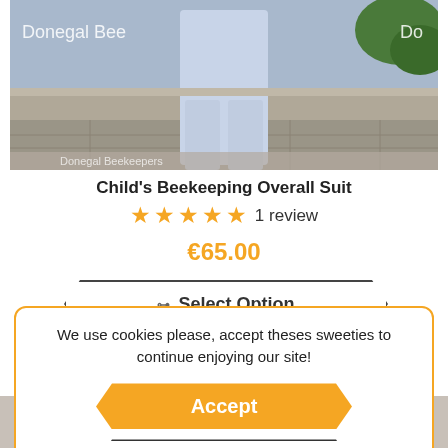[Figure (photo): Product photo of a child wearing a beekeeping overall suit, shown from waist down, light blue/grey color. Watermark text 'Donegal Bee' visible at top left and 'Do' at top right.]
Child's Beekeeping Overall Suit
★★★★★ 1 review
€65.00
Select Option
We use cookies please, accept theses sweeties to continue enjoying our site!
Accept
Decline
[Figure (photo): Partial view of another product at the bottom of the page, dark colored item partially visible.]